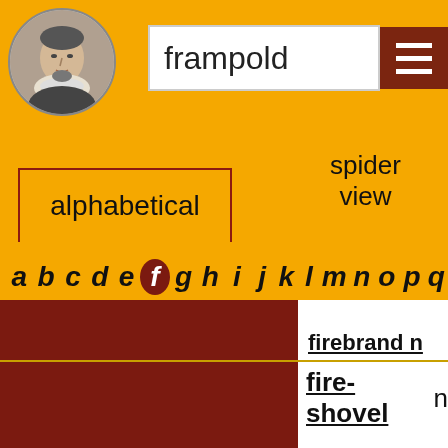[Figure (illustration): Circular portrait of Shakespeare in grayscale]
frampold
alphabetical
spider view
by frequency
by
a b c d e f g h i j k l m n o p q
firebrand n
fire-shovel n
PEOPLE
firebrand adj
fire-a...